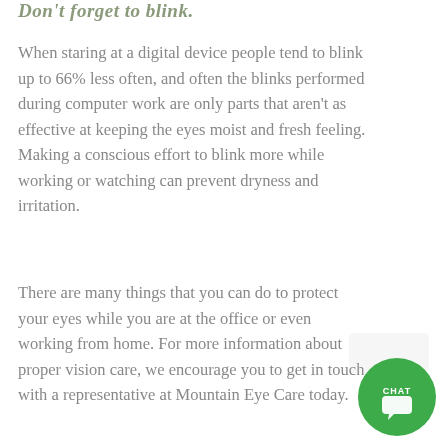Don't forget to blink.
When staring at a digital device people tend to blink up to 66% less often, and often the blinks performed during computer work are only parts that aren't as effective at keeping the eyes moist and fresh feeling. Making a conscious effort to blink more while working or watching can prevent dryness and irritation.
There are many things that you can do to protect your eyes while you are at the office or even working from home. For more information about proper vision care, we encourage you to get in touch with a representative at Mountain Eye Care today.
[Figure (illustration): Green circular chat button with 'CHAT' text and a chat bubble arrow icon above it]